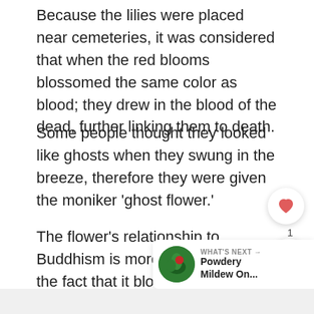Because the lilies were placed near cemeteries, it was considered that when the red blooms blossomed the same color as blood; they drew in the blood of the dead, further linking them to death.
Some people thought they looked like ghosts when they swung in the breeze, therefore they were given the moniker 'ghost flower.'
The flower's relationship to Buddhism is more than just the fact that it blooms during the Ohigan festival. The flower is also known as Manjushage, which comes from Buddhist scriptures and is one of the few names not associated with death.